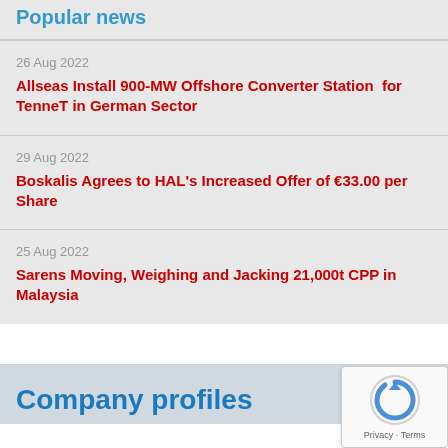Popular news
26 Aug 2022
Allseas Install 900-MW Offshore Converter Station for TenneT in German Sector
29 Aug 2022
Boskalis Agrees to HAL's Increased Offer of €33.00 per Share
25 Aug 2022
Sarens Moving, Weighing and Jacking 21,000t CPP in Malaysia
Company profiles